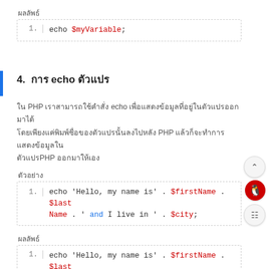ผลลัพธ์
echo $myVariable;
4. การ echo ตัวแปร
ใน PHP เราสามารถใช้คำสั่ง echo เพื่อแสดงข้อมูลที่อยู่ในตัวแปรออกมาได้ โดยเพียงแค่พิมพ์ชื่อของตัวแปรนั้นลงไปหลัง PHP แล้วก็จะทำการแสดงข้อมูลในตัวแปรPHP ออกมาให้เอง
ตัวอย่าง
echo 'Hello, my name is' . $firstName . $lastName . ' and I live in ' . $city;
ผลลัพธ์
echo 'Hello, my name is' . $firstName . $last